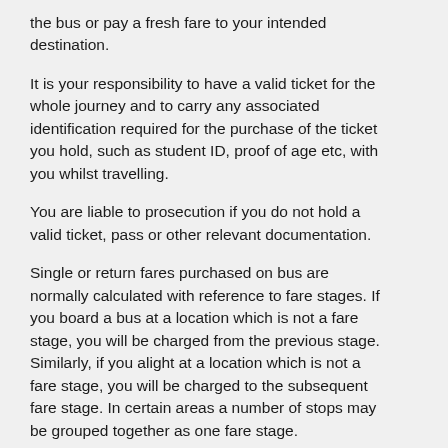the bus or pay a fresh fare to your intended destination.
It is your responsibility to have a valid ticket for the whole journey and to carry any associated identification required for the purchase of the ticket you hold, such as student ID, proof of age etc, with you whilst travelling.
You are liable to prosecution if you do not hold a valid ticket, pass or other relevant documentation.
Single or return fares purchased on bus are normally calculated with reference to fare stages. If you board a bus at a location which is not a fare stage, you will be charged from the previous stage. Similarly, if you alight at a location which is not a fare stage, you will be charged to the subsequent fare stage. In certain areas a number of stops may be grouped together as one fare stage.